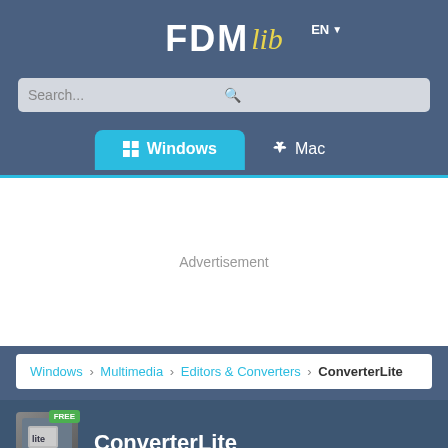FDMlib
[Figure (screenshot): Search bar with placeholder text 'Search...' and search icon]
[Figure (screenshot): Navigation tabs: Windows (active, blue) and Mac]
Advertisement
Windows › Multimedia › Editors & Converters › ConverterLite
ConverterLite